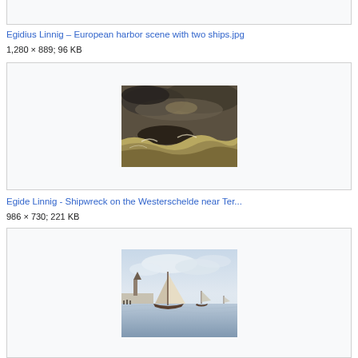[Figure (illustration): Top partial image box (cropped from above)]
Egidius Linnig – European harbor scene with two ships.jpg
1,280 × 889; 96 KB
[Figure (photo): Painting of a shipwreck scene with rough waves and stormy sky — Egide Linnig, Shipwreck on the Westerschelde near Ter...]
Egide Linnig - Shipwreck on the Westerschelde near Ter...
986 × 730; 221 KB
[Figure (photo): Painting of a calm harbor scene with sailing boats and a church in the background under a cloudy sky]